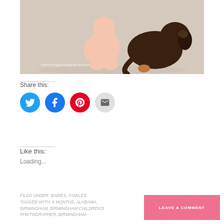[Figure (photo): Baby sitting with back turned next to a dark brown curly-haired dog on a light background. Watermark: www.amypphotography.com]
Share this:
[Figure (infographic): Social share icons: Twitter (blue), Facebook (blue), Pinterest (red), Email (gray)]
Like this:
Loading...
FILED UNDER: BABIES, FAMILES
TAGGED WITH: 6 MONTHS, ALABAMA, BIRMINGHAM, BIRMINGHAM CHILDREN'S PHOTOGRAPHER, BIRMINGHAM
LEAVE A COMMENT